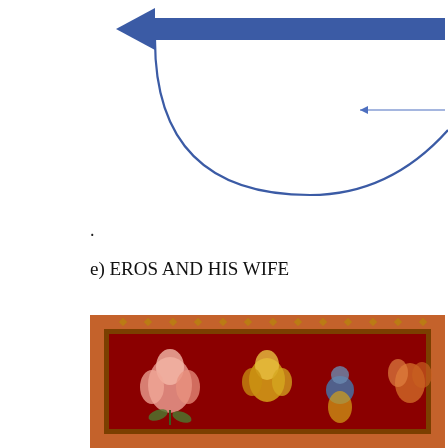[Figure (engineering-diagram): Geometric diagram showing a bold blue horizontal arrow pointing left at top, with two curved blue lines forming a parabolic/bowl shape descending from the left endpoint and a point on the right, meeting at a bottom vertex. A thin blue horizontal arrow pointing left appears in the upper right area of the diagram.]
.
e) EROS AND HIS WIFE
[Figure (photo): Photograph of an ornate red textile or carpet with intricate floral and figural patterns. The piece has a decorative border with small geometric motifs, and the main field shows elaborate botanical designs and human/divine figures against a deep red background.]